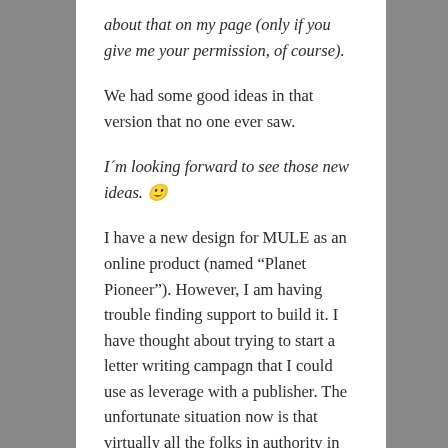about that on my page (only if you give me your permission, of course).
We had some good ideas in that version that no one ever saw.
I´m looking forward to see those new ideas. 🙂
I have a new design for MULE as an online product (named “Planet Pioneer”). However, I am having trouble finding support to build it. I have thought about trying to start a letter writing campagn that I could use as leverage with a publisher. The unfortunate situation now is that virtually all the folks in authority in the industry got here after MULE was already out of print.